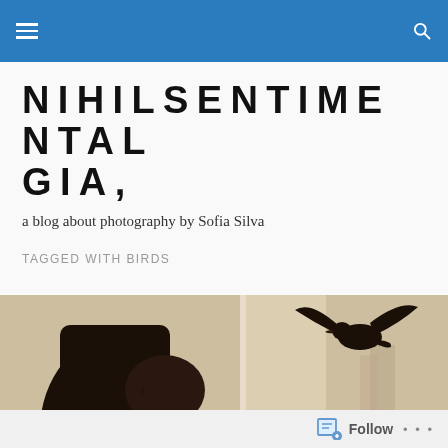NIHILSENTIALGIA, – navigation header bar with hamburger menu and search icon
NIHILSENTIMENTAL GIA,
a blog about photography by Sofia Silva
TAGGED WITH BIRDS
[Figure (photo): Sepia-toned photograph of a woman looking out a window at a bird (pigeon) in flight with wings spread, urban buildings visible in background]
Follow  ...